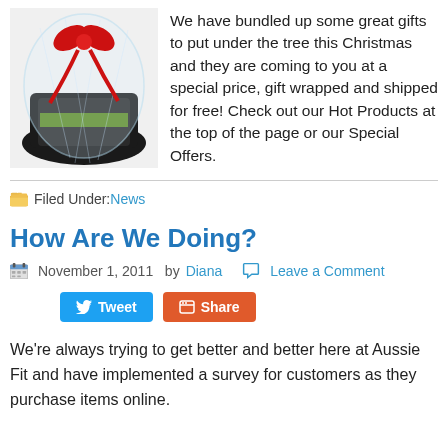[Figure (photo): Gift basket wrapped in clear cellophane with a red bow on top, containing dark items.]
We have bundled up some great gifts to put under the tree this Christmas and they are coming to you at a special price, gift wrapped and shipped for free! Check out our Hot Products at the top of the page or our Special Offers.
Filed Under: News
How Are We Doing?
November 1, 2011   by Diana   Leave a Comment
Tweet  Share
We're always trying to get better and better here at Aussie Fit and have implemented a survey for customers as they purchase items online.